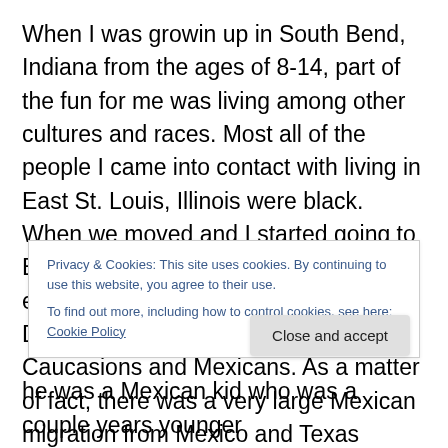When I was growin up in South Bend, Indiana from the ages of 8-14, part of the fun for me was living among other cultures and races.  Most all of the people I came into contact with living in East St. Louis, Illinois were black.  When we moved and I started going to Benjamin Harrison School K-8, I was exposed to not only people of African-Descent who looked like me, but also Caucasions and Mexicans.  As a matter of fact, there was a very large Mexican migration from Mexico and Texas during the 70s and early 80s.  This is common place now in America, but South Bend was at that time starting to become just as
Privacy & Cookies: This site uses cookies. By continuing to use this website, you agree to their use.
To find out more, including how to control cookies, see here: Cookie Policy
Close and accept
he was a Mexican kid who was a couple years younger